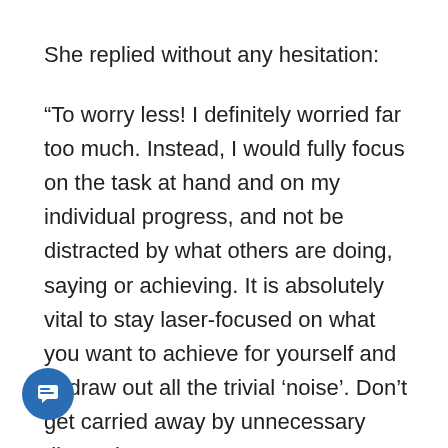She replied without any hesitation:
“To worry less! I definitely worried far too much. Instead, I would fully focus on the task at hand and on my individual progress, and not be distracted by what others are doing, saying or achieving. It is absolutely vital to stay laser-focused on what you want to achieve for yourself and to draw out all the trivial ‘noise’. Don’t get carried away by unnecessary distractions.
“Concentrate on your own journey and progress, work on self-improvement, on your self-confidence, build a strong mind, and ensure you feel good about yourself. If you won’t do all that for yourself, no one will! Stay grounded, focus on what really matters, and on what really is the true essence of the